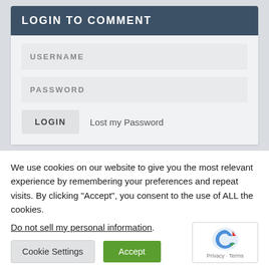LOGIN TO COMMENT
USERNAME
PASSWORD
LOGIN
Lost my Password
We use cookies on our website to give you the most relevant experience by remembering your preferences and repeat visits. By clicking “Accept”, you consent to the use of ALL the cookies.
Do not sell my personal information.
Cookie Settings
Accept